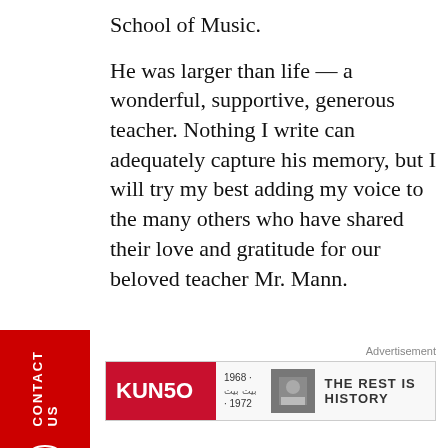School of Music.
He was larger than life — a wonderful, supportive, generous teacher. Nothing I write can adequately capture his memory, but I will try my best adding my voice to the many others who have shared their love and gratitude for our beloved teacher Mr. Mann.
Advertisement
[Figure (other): KUN50 advertisement banner with text '1968 · THE REST IS HISTORY · 1972' and a small photograph]
CONTACT US